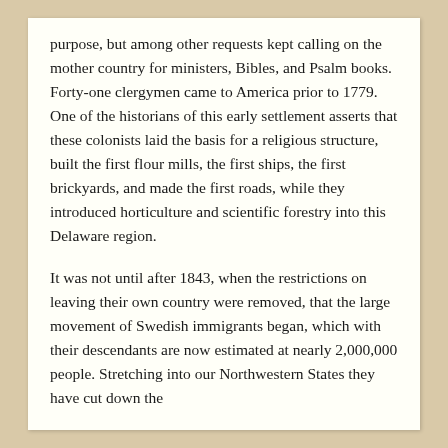purpose, but among other requests kept calling on the mother country for ministers, Bibles, and Psalm books. Forty-one clergymen came to America prior to 1779. One of the historians of this early settlement asserts that these colonists laid the basis for a religious structure, built the first flour mills, the first ships, the first brickyards, and made the first roads, while they introduced horticulture and scientific forestry into this Delaware region.
It was not until after 1843, when the restrictions on leaving their own country were removed, that the large movement of Swedish immigrants began, which with their descendants are now estimated at nearly 2,000,000 people. Stretching into our Northwestern States they have cut down the